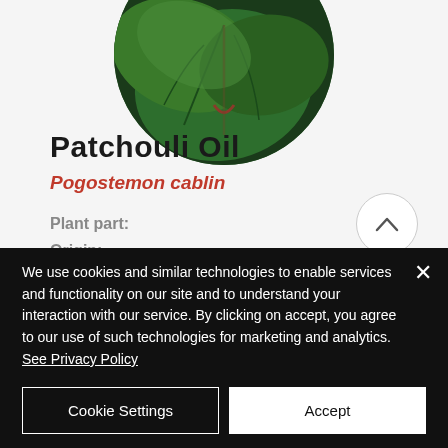[Figure (photo): Circular cropped photo of green patchouli leaves against a dark background]
Patchouli Oil
Pogostemon cablin
Plant part:
Origin:
Grade:
Leaf
We use cookies and similar technologies to enable services and functionality on our site and to understand your interaction with our service. By clicking on accept, you agree to our use of such technologies for marketing and analytics. See Privacy Policy